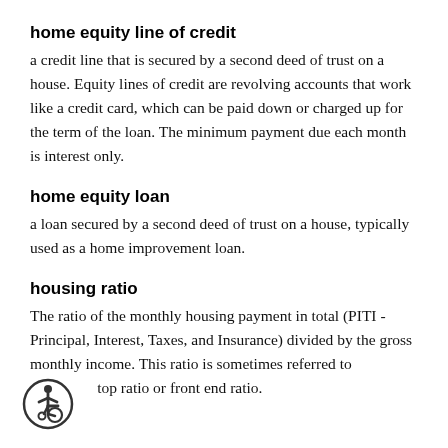home equity line of credit
a credit line that is secured by a second deed of trust on a house. Equity lines of credit are revolving accounts that work like a credit card, which can be paid down or charged up for the term of the loan. The minimum payment due each month is interest only.
home equity loan
a loan secured by a second deed of trust on a house, typically used as a home improvement loan.
housing ratio
The ratio of the monthly housing payment in total (PITI - Principal, Interest, Taxes, and Insurance) divided by the gross monthly income. This ratio is sometimes referred to as the top ratio or front end ratio.
[Figure (illustration): Accessibility icon — circular icon with wheelchair user symbol in dark outline]